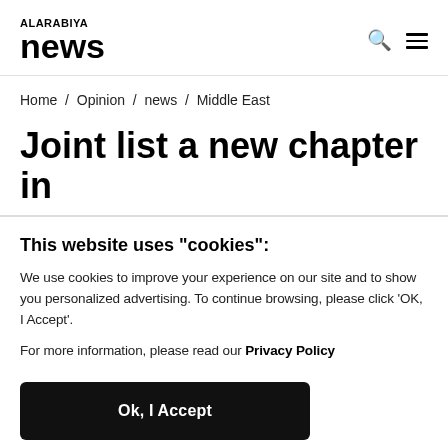ALARABIYA news
Home / Opinion / news / Middle East
Joint list a new chapter in
This website uses "cookies":
We use cookies to improve your experience on our site and to show you personalized advertising. To continue browsing, please click ‘OK, I Accept’.
For more information, please read our Privacy Policy
Ok, I Accept